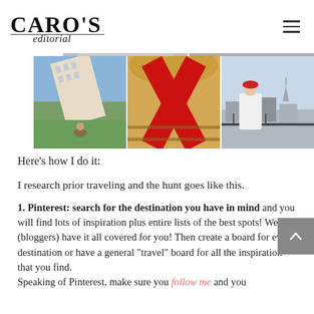[Figure (logo): Caro's Editorial logo in black serif/script font]
[Figure (photo): Grid of travel photos: Paris building tilted, Galeries Lafayette interior with red sculpture, woman with red beret overlooking Paris rooftops]
Here’s how I do it:
I research prior traveling and the hunt goes like this.
1. Pinterest: search for the destination you have in mind and you will find lots of inspiration plus entire lists of the best spots! We (bloggers) have it all covered for you! Then create a board for every destination or have a general “travel” board for all the inspiration that you find. Speaking of Pinterest, make sure you follow me and you